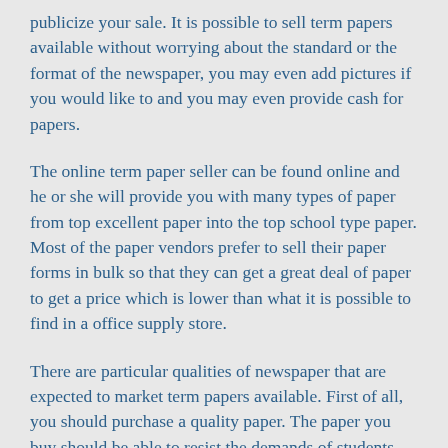publicize your sale. It is possible to sell term papers available without worrying about the standard or the format of the newspaper, you may even add pictures if you would like to and you may even provide cash for papers.
The online term paper seller can be found online and he or she will provide you with many types of paper from top excellent paper into the top school type paper. Most of the paper vendors prefer to sell their paper forms in bulk so that they can get a great deal of paper to get a price which is lower than what it is possible to find in a office supply store.
There are particular qualities of newspaper that are expected to market term papers available. First of all, you should purchase a quality paper. The paper you buy should be able to resist the demands of students and needs to be printed with good quality